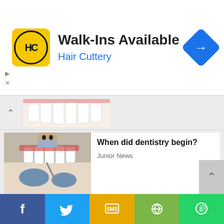[Figure (screenshot): Advertisement banner for Hair Cuttery. Shows yellow HC logo on left, 'Walk-Ins Available' heading, 'Hair Cuttery' subtitle in blue, and a blue navigation arrow diamond icon on the right.]
[Figure (photo): Partial photo of teeth (dental image) at top of news list, partially cut off.]
[Figure (photo): Photo of a dentist working on a patient's teeth with gloved hands.]
When did dentistry begin?
Junior News
[Figure (photo): Photo of a large crowd of protesters gathered in an urban area.]
Maamobi: Residents protest eviction "without compensation"
General News
[Figure (photo): Partial photo showing a scales of justice and a gavel on a wooden surface.]
12 persons arrested in Chereponi clashes to face...
[Figure (screenshot): Bottom share bar with Facebook, Twitter, SMS, Share, and WhatsApp buttons.]